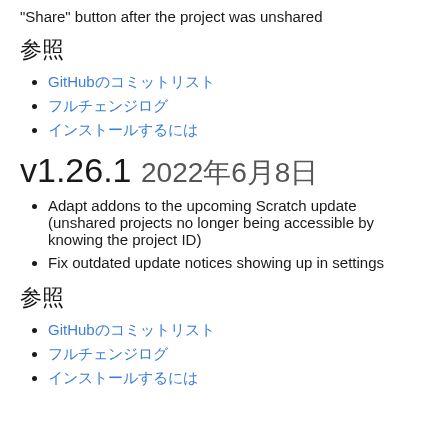"Share" button after the project was unshared
参照
GitHubのコミットリスト
フルチェンジログ
インストールするには
v1.26.1  2022年6月8日
Adapt addons to the upcoming Scratch update (unshared projects no longer being accessible by knowing the project ID)
Fix outdated update notices showing up in settings
参照
GitHubのコミットリスト
フルチェンジログ
インストールするには